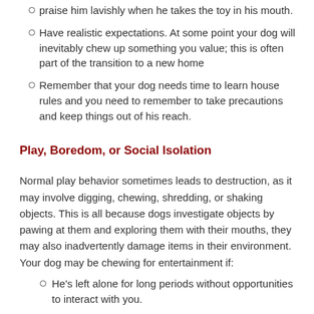praise him lavishly when he takes the toy in his mouth.
Have realistic expectations. At some point your dog will inevitably chew up something you value; this is often part of the transition to a new home
Remember that your dog needs time to learn house rules and you need to remember to take precautions and keep things out of his reach.
Play, Boredom, or Social Isolation
Normal play behavior sometimes leads to destruction, as it may involve digging, chewing, shredding, or shaking objects. This is all because dogs investigate objects by pawing at them and exploring them with their mouths, they may also inadvertently damage items in their environment. Your dog may be chewing for entertainment if:
He's left alone for long periods without opportunities to interact with you.